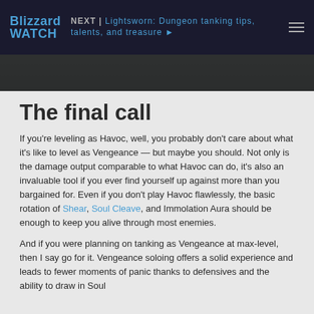Blizzard WATCH | NEXT | Lightsworn: Dungeon tanking tips, talents, and treasure ▶
[Figure (photo): Dark hero/banner image strip]
The final call
If you're leveling as Havoc, well, you probably don't care about what it's like to level as Vengeance — but maybe you should. Not only is the damage output comparable to what Havoc can do, it's also an invaluable tool if you ever find yourself up against more than you bargained for. Even if you don't play Havoc flawlessly, the basic rotation of Shear, Soul Cleave, and Immolation Aura should be enough to keep you alive through most enemies.
And if you were planning on tanking as Vengeance at max-level, then I say go for it. Vengeance soloing offers a solid experience and leads to fewer moments of panic thanks to defensives and the ability to draw in Soul